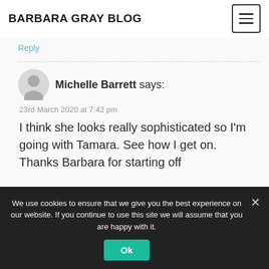BARBARA GRAY BLOG
Reply
Michelle Barrett says:
23rd March 2020 at 7:42 pm
I think she looks really sophisticated so I'm going with Tamara. See how I get on. Thanks Barbara for starting off
We use cookies to ensure that we give you the best experience on our website. If you continue to use this site we will assume that you are happy with it.